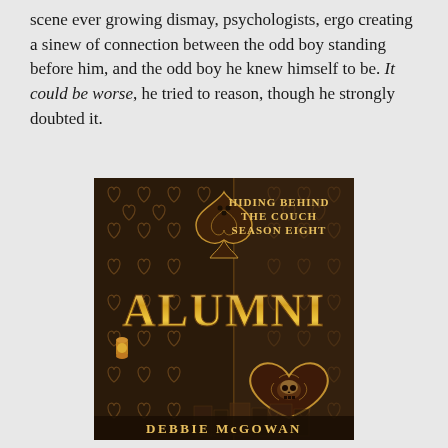scene ever growing dismay, psychologists, ergo creating a sinew of connection between the odd boy standing before him, and the odd boy he knew himself to be. It could be worse, he tried to reason, though he strongly doubted it.
[Figure (illustration): Book cover for 'Hiding Behind The Couch Season Eight: Alumni' by Debbie McGowan. Dark brown ornate background with heart patterns. Features decorative spade and heart card suit symbols with skulls and filigree. Gold lettering for 'ALUMNI' and author name 'DEBBIE McGOWAN' at bottom.]